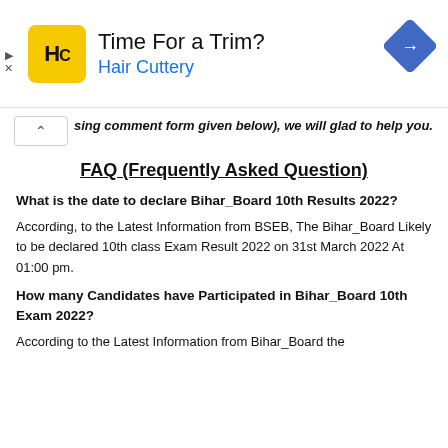[Figure (other): Advertisement banner for Hair Cuttery with logo, text 'Time For a Trim?' and 'Hair Cuttery' in blue, and a blue navigation arrow icon]
sing comment form given below), we will glad to help you.
FAQ (Frequently Asked Question)
What is the date to declare Bihar_Board 10th Results 2022?
According, to the Latest Information from BSEB, The Bihar_Board Likely to be declared 10th class Exam Result 2022 on 31st March 2022 At 01:00 pm.
How many Candidates have Participated in Bihar_Board 10th Exam 2022?
According to the Latest Information from Bihar_Board the